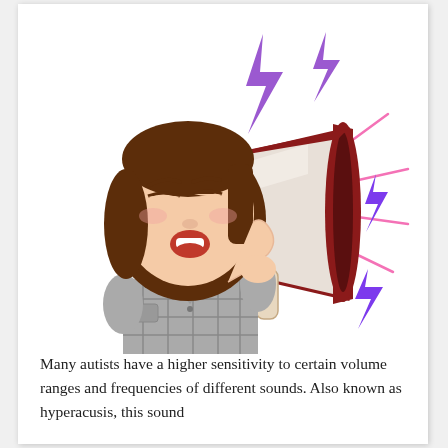[Figure (illustration): Cartoon bitmoji-style illustration of a brunette woman with short hair, eyes squinting, mouth open, holding a red and white megaphone with sound effects radiating from it — purple lightning bolts and pink lines indicating loud noise.]
Many autists have a higher sensitivity to certain volume ranges and frequencies of different sounds. Also known as hyperacusis, this sound